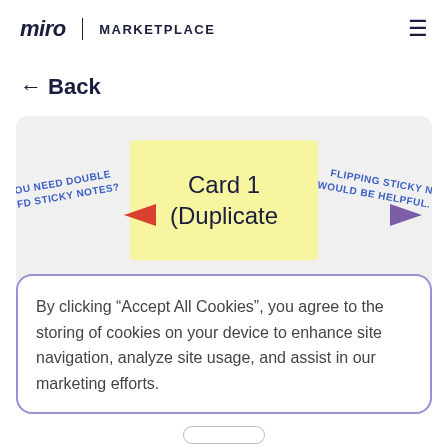miro | MARKETPLACE
← Back
[Figure (screenshot): Miro marketplace app preview showing a yellow sticky note card labeled 'Card 1 (Duplicate' with red arrow on left and purple arrow on right, blue text annotations reading 'YOU NEED DOUBLE FD STICKY NOTES?' and 'FLIPPING STICKY N WOULD BE HELPFUL.' on grey background]
By clicking “Accept All Cookies”, you agree to the storing of cookies on your device to enhance site navigation, analyze site usage, and assist in our marketing efforts.